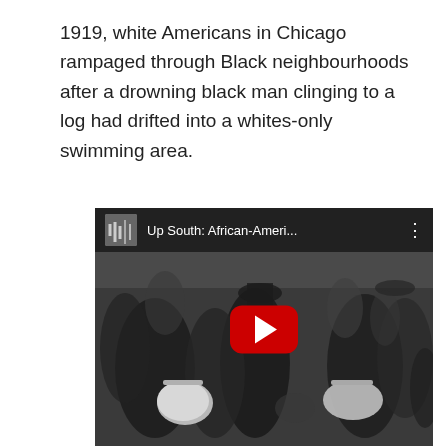1919, white Americans in Chicago rampaged through Black neighbourhoods after a drowning black man clinging to a log had drifted into a whites-only swimming area.
[Figure (screenshot): YouTube video thumbnail showing a black-and-white historical photograph of African-American people (some carrying baskets/luggage) with a YouTube play button overlay. Video title shows 'Up South: African-Ameri...']